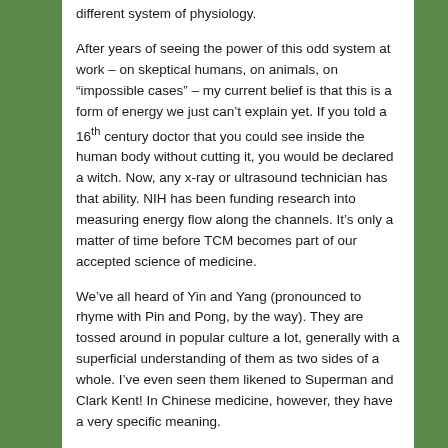different system of physiology.
After years of seeing the power of this odd system at work – on skeptical humans, on animals, on “impossible cases” – my current belief is that this is a form of energy we just can’t explain yet. If you told a 16th century doctor that you could see inside the human body without cutting it, you would be declared a witch. Now, any x-ray or ultrasound technician has that ability. NIH has been funding research into measuring energy flow along the channels. It’s only a matter of time before TCM becomes part of our accepted science of medicine.
We’ve all heard of Yin and Yang (pronounced to rhyme with Pin and Pong, by the way). They are tossed around in popular culture a lot, generally with a superficial understanding of them as two sides of a whole. I’ve even seen them likened to Superman and Clark Kent! In Chinese medicine, however, they have a very specific meaning.
Think of Yin as being the moisture, or richness, or stillness...